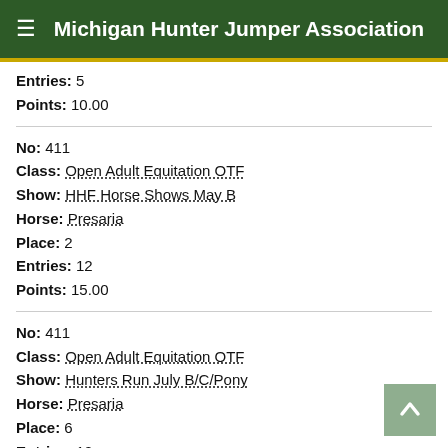Michigan Hunter Jumper Association
Entries: 5
Points: 10.00
No: 411
Class: Open Adult Equitation OTF
Show: HHF Horse Shows May B
Horse: Presaria
Place: 2
Entries: 12
Points: 15.00
No: 411
Class: Open Adult Equitation OTF
Show: Hunters Run July B/C/Pony
Horse: Presaria
Place: 6
Entries: 10
Points: 3.00
No: 411
Class: Open Adult Equitation OTF